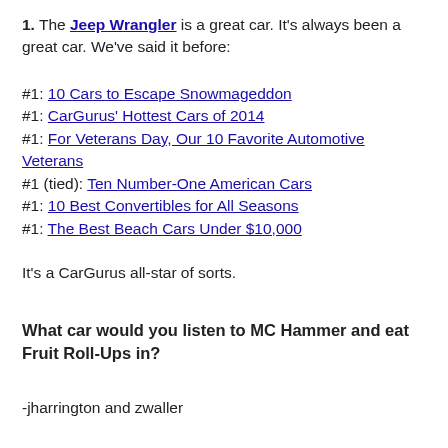1. The Jeep Wrangler is a great car. It’s always been a great car. We’ve said it before:
#1: 10 Cars to Escape Snowmageddon
#1: CarGurus’ Hottest Cars of 2014
#1: For Veterans Day, Our 10 Favorite Automotive Veterans
#1 (tied): Ten Number-One American Cars
#1: 10 Best Convertibles for All Seasons
#1: The Best Beach Cars Under $10,000
It’s a CarGurus all-star of sorts.
What car would you listen to MC Hammer and eat Fruit Roll-Ups in?
-jharrington and zwaller